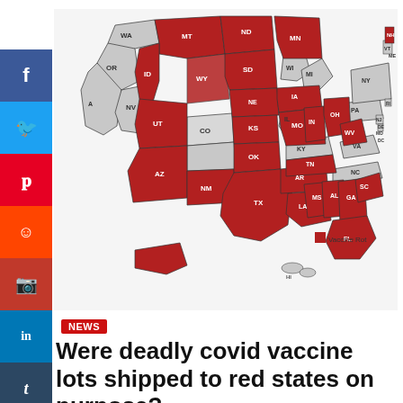[Figure (map): US map showing states colored red (Vaccine Rot) vs gray. Red states include MT, ID, WY, UT, AZ, NV, NM, CO partial, TX, OK, KS, NE, SD, ND, MN, IA, MO, AR, LA, MS, AL, GA, TN, IN, OH, WV, SC, FL, ME, NH/VT area. Gray states include WA, OR, CA partial, CO, NM, IL, MI, WI, KY, NC, VA, PA, NY, and others. Legend shows red square labeled Vaccine Rot.]
Vaccine Rot
NEWS
Were deadly covid vaccine lots shipped to red states on purpose?